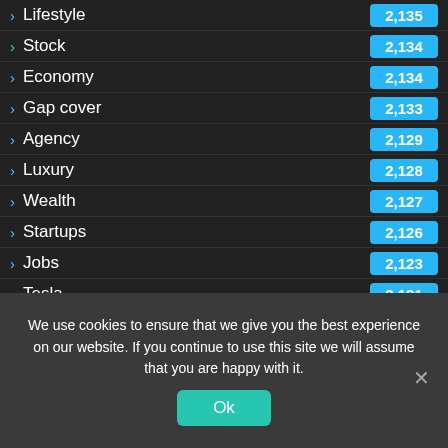Lifestyle 2,135
Stock 2,134
Economy 2,134
Gap cover 2,133
Agency 2,129
Luxury 2,128
Wealth 2,127
Startups 2,126
Jobs 2,123
Tesla 2,121
We use cookies to ensure that we give you the best experience on our website. If you continue to use this site we will assume that you are happy with it.
Ok